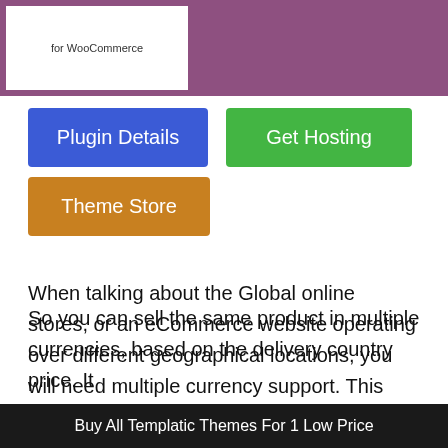[Figure (screenshot): Top banner with white plugin card showing 'for WooCommerce' text on mauve/purple background]
Plugin Details
Get Hosting
Theme Store
When talking about the Global online stores, or an eCommerce website operating over different geographical locations, you will need multiple currency support. This plugin helps you show Price Based on Country for WooCommerce. So you can sell the same product in multiple currencies, based on the delivery country price. It
Buy All Templatic Themes For 1 Low Price